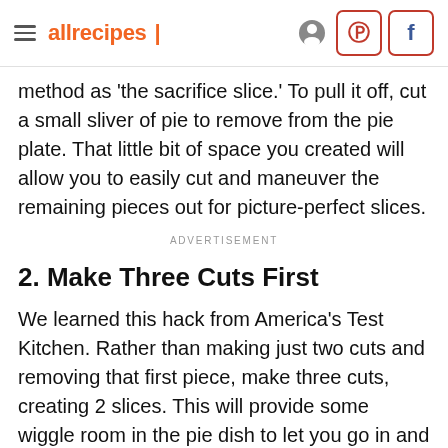allrecipes
method as 'the sacrifice slice.' To pull it off, cut a small sliver of pie to remove from the pie plate. That little bit of space you created will allow you to easily cut and maneuver the remaining pieces out for picture-perfect slices.
ADVERTISEMENT
2. Make Three Cuts First
We learned this hack from America's Test Kitchen. Rather than making just two cuts and removing that first piece, make three cuts, creating 2 slices. This will provide some wiggle room in the pie dish to let you go in and remove the first slice in one beautiful piece. The